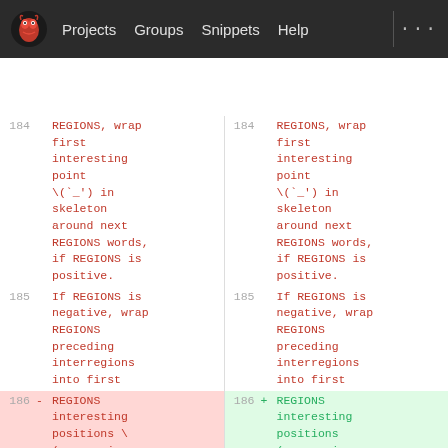Projects  Groups  Snippets  Help
[Figure (screenshot): GitLab-style code diff view showing two side-by-side panels with line numbers 184, 185, 186. Lines contain code/text about REGIONS, wrap first interesting point, skeleton around next REGIONS words. Line 186 is highlighted: left side red (removed) with minus sign, right side green (added) with plus sign.]